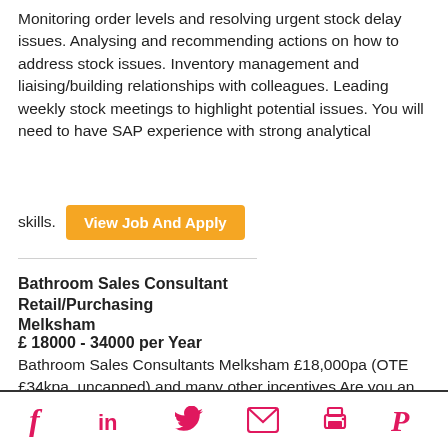Monitoring order levels and resolving urgent stock delay issues. Analysing and recommending actions on how to address stock issues. Inventory management and liaising/building relationships with colleagues. Leading weekly stock meetings to highlight potential issues. You will need to have SAP experience with strong analytical
skills.
View Job And Apply
Bathroom Sales Consultant
Retail/Purchasing
Melksham
£ 18000 - 34000 per Year
Bathroom Sales Consultants Melksham £18,000pa (OTE £34kpa, uncapped) and many other incentives Are you an experienced Sales Advisor who would like to earn bonus for the work you do? Or do you have Bathroom
Social icons: Facebook, LinkedIn, Twitter, Email, Print, Pinterest